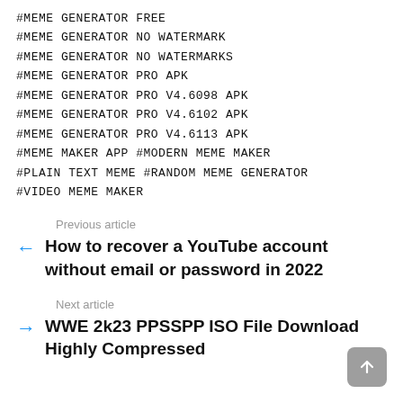#MEME GENERATOR FREE
#MEME GENERATOR NO WATERMARK
#MEME GENERATOR NO WATERMARKS
#MEME GENERATOR PRO APK
#MEME GENERATOR PRO V4.6098 APK
#MEME GENERATOR PRO V4.6102 APK
#MEME GENERATOR PRO V4.6113 APK
#MEME MAKER APP #MODERN MEME MAKER
#PLAIN TEXT MEME #RANDOM MEME GENERATOR
#VIDEO MEME MAKER
Previous article
← How to recover a YouTube account without email or password in 2022
Next article
→ WWE 2k23 PPSSPP ISO File Download Highly Compressed